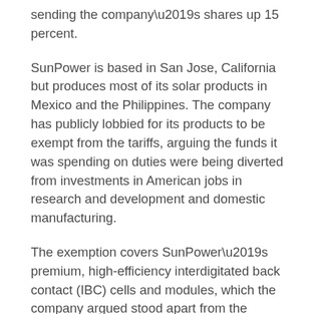sending the company's shares up 15 percent.
SunPower is based in San Jose, California but produces most of its solar products in Mexico and the Philippines. The company has publicly lobbied for its products to be exempt from the tariffs, arguing the funds it was spending on duties were being diverted from investments in American jobs in research and development and domestic manufacturing.
The exemption covers SunPower's premium, high-efficiency interdigitated back contact (IBC) cells and modules, which the company argued stood apart from the cheap, commoditized imports that dominate the market and were the target of the tariffs.
“With today’s decision that SunPower’s highly differentiated IBC cells and modules are excluded from tariffs, we are able to turn the page,” SunPower Chief